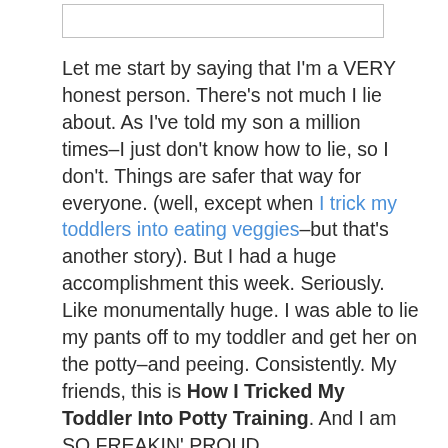[Figure (other): Empty white rectangle with thin gray border at top of page]
Let me start by saying that I'm a VERY honest person. There's not much I lie about. As I've told my son a million times–I just don't know how to lie, so I don't. Things are safer that way for everyone. (well, except when I trick my toddlers into eating veggies–but that's another story). But I had a huge accomplishment this week. Seriously. Like monumentally huge. I was able to lie my pants off to my toddler and get her on the potty–and peeing. Consistently. My friends, this is How I Tricked My Toddler Into Potty Training. And I am SO FREAKIN' PROUD.